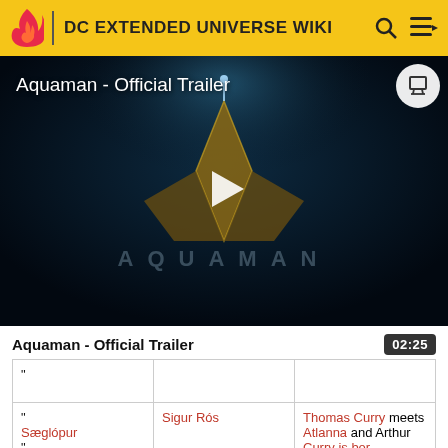DC EXTENDED UNIVERSE WIKI
[Figure (screenshot): Aquaman Official Trailer video player showing dark underwater scene with AQUAMAN logo and a play button overlay]
Aquaman - Official Trailer
| " |  |  |
| " Sæglópur " | Sigur Rós | Thomas Curry meets Atlanna and Arthur Curry is born |